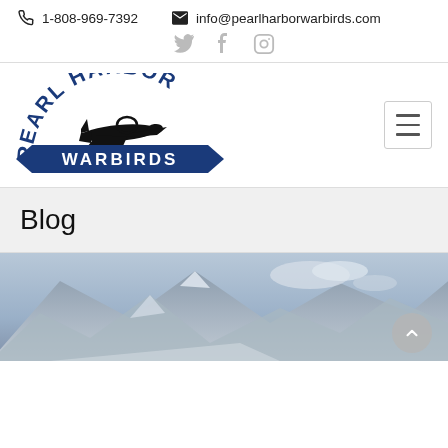1-808-969-7392   info@pearlharborwarbirds.com
[Figure (logo): Pearl Harbor Warbirds logo with WWII airplane silhouette and blue banner reading WARBIRDS]
Blog
[Figure (photo): Photograph of a mountain landscape with cloudy sky, partial view of what appears to be a warbird aircraft in the foreground]